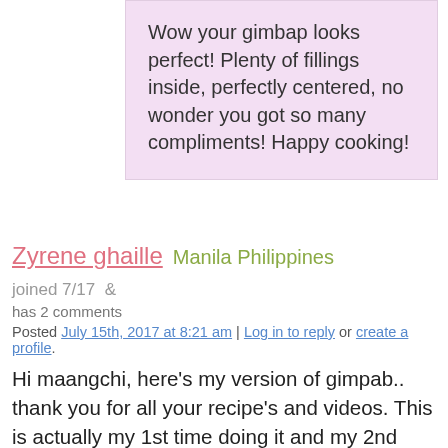Wow your gimbap looks perfect! Plenty of fillings inside, perfectly centered, no wonder you got so many compliments! Happy cooking!
Zyrene ghaille  Manila Philippines  joined 7/17  &  has 2 comments
Posted July 15th, 2017 at 8:21 am | Log in to reply or create a profile.
Hi maangchi, here's my version of gimpab.. thank you for all your recipe's and videos. This is actually my 1st time doing it and my 2nd korean dish that i have made. I just had a hard time rolling it. Its good nonetheless. I might be able to sell this and make money out of it..lol.. i have orders already.
[Figure (photo): Partial photo of gimbap rolls arranged on a surface, visible at bottom of page]